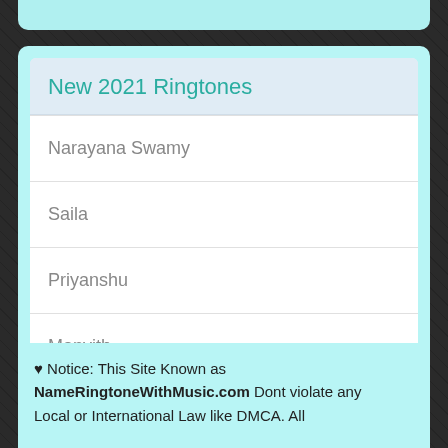New 2021 Ringtones
Narayana Swamy
Saila
Priyanshu
Manvith
♥ Notice: This Site Known as NameRingtoneWithMusic.com Dont violate any Local or International Law like DMCA. All